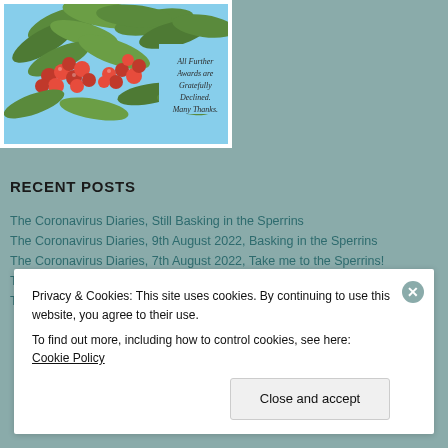[Figure (photo): Photo of red berries on tree branches with green leaves against a blue sky, with overlay text reading 'All Further Awards are Gratefully Declined. Many Thanks.']
RECENT POSTS
The Coronavirus Diaries, Still Basking in the Sperrins
The Coronavirus Diaries, 9th August 2022, Basking in the Sperrins
The Coronavirus Diaries, 7th August 2022, Take me to the Sperrins!
The Coronavirus Diaries, 5th August 2022: Belfast
Privacy & Cookies: This site uses cookies. By continuing to use this website, you agree to their use.
To find out more, including how to control cookies, see here: Cookie Policy